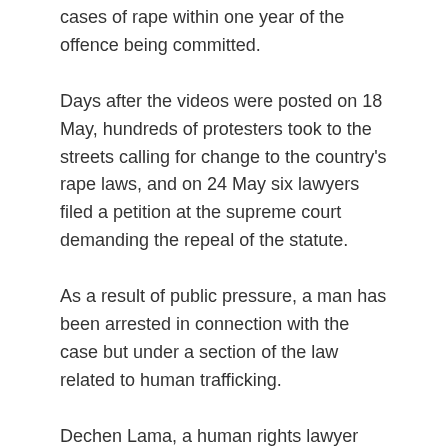cases of rape within one year of the offence being committed.
Days after the videos were posted on 18 May, hundreds of protesters took to the streets calling for change to the country's rape laws, and on 24 May six lawyers filed a petition at the supreme court demanding the repeal of the statute.
As a result of public pressure, a man has been arrested in connection with the case but under a section of the law related to human trafficking.
Dechen Lama, a human rights lawyer who also works for the Forum for Women, Law and Development, a Nepali rights organisation, said: “The law is not comprehensive …… It leads to so much unfairness and injustice. It has to be changed. There are so many loopholes in the rape law, most particularly the statute of limitation and the definition of rape.”
Nepal’s 2017 penal code extended the statute of limitations on